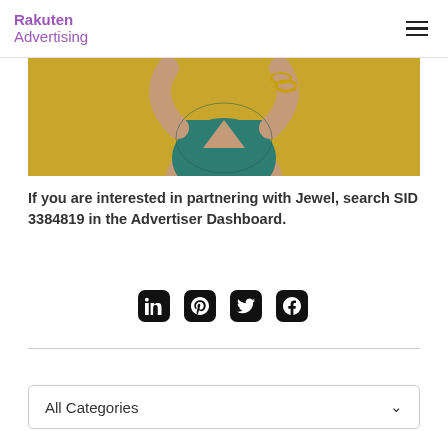Rakuten Advertising
[Figure (photo): Cropped photo of a woman in a teal/green lace crop top with a yellow/golden background, arms raised/crossed behind head, wearing bangles.]
If you are interested in partnering with Jewel, search SID 3384819 in the Advertiser Dashboard.
[Figure (infographic): Row of four social media icon buttons (LinkedIn, Pinterest, Twitter, Facebook) in black rounded square style.]
[Figure (infographic): All Categories dropdown selector with chevron arrow.]